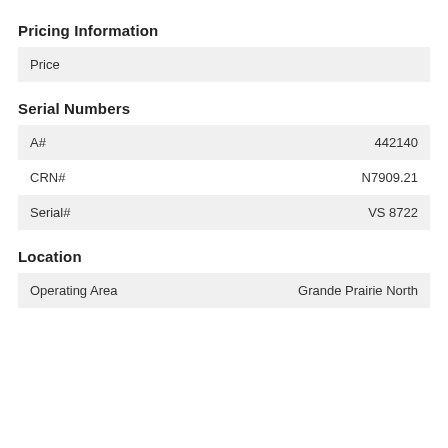Pricing Information
|  |  |
| --- | --- |
| Price |  |
Serial Numbers
|  |  |
| --- | --- |
| A# | 442140 |
| CRN# | N7909.21 |
| Serial# | VS 8722 |
Location
|  |  |
| --- | --- |
| Operating Area | Grande Prairie North |